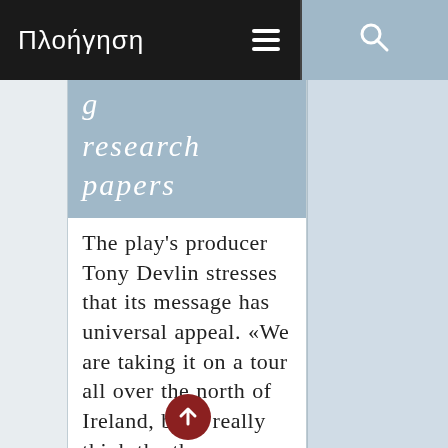Πλοήγηση
research papers
The play's producer Tony Devlin stresses that its message has universal appeal. «We are taking it on a tour all over the north of Ireland, but I really think the themes contained in the play would be understood if we staged [it] in the north [of